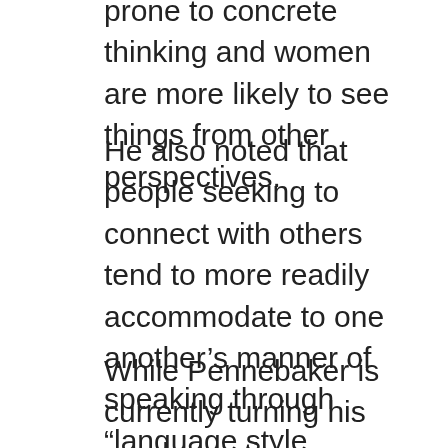prone to concrete thinking and women are more likely to see things from other perspectives.
He also noted that people seeking to connect with others tend to more readily accommodate to one another's manner of speaking through “language style matching,” getting their function words in sync (as, for example, in dropping the “I” in favor of the more inclusive “we”).
While Pennebaker is currently turning his word-counting machine toward the presidential campaign, his technique is also drawing attention in the study of social dynamics. Joseph Psotka, a research psychologist at the Army Research Institute that has given him a grant to study how leaders use language, said that over time, this kind of study “could be very helpful for training and leadership development, but precisely how